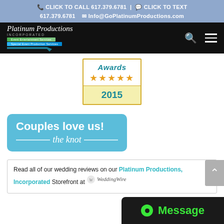📞 CLICK TO CALL 617.379.6781 | 💬 CLICK TO TEXT 617.379.6781 ✉ Info@GoPlatinumProductions.com
[Figure (logo): Platinum Productions Incorporated logo on black navigation bar with search and menu icons]
[Figure (other): Awards badge with 5 gold stars and year 2015 in teal color on yellow background]
[Figure (other): Blue rounded rectangle badge reading 'Couples love us! the knot']
Read all of our wedding reviews on our Platinum Productions, Incorporated Storefront at WeddingWire
[Figure (other): Black message button with green dot icon and 'Message' text in green]